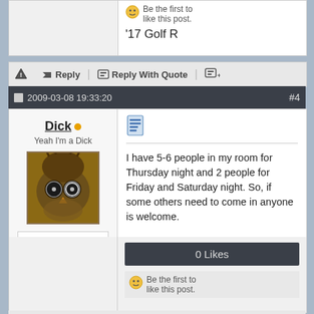Be the first to like this post.
'17 Golf R
Reply | Reply With Quote
2009-03-08 19:33:20  #4
Dick
Yeah I'm a Dick
Join Date: 2007-12-11
Location: Abilene, TX
Posts: 355
Trader Score: 8 (100%)
I have 5-6 people in my room for Thursday night and 2 people for Friday and Saturday night. So, if some others need to come in anyone is welcome.
0 Likes
Be the first to like this post.